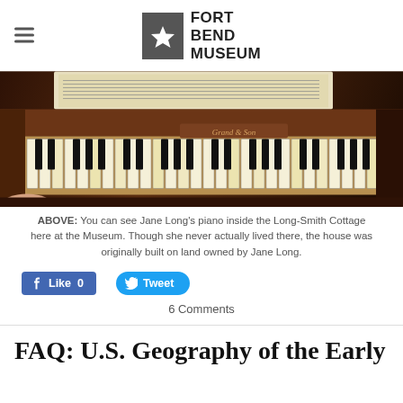FORT BEND MUSEUM
[Figure (photo): Close-up photograph of an antique piano with sheet music on the stand, showing the keyboard and wooden body]
ABOVE: You can see Jane Long's piano inside the Long-Smith Cottage here at the Museum. Though she never actually lived there, the house was originally built on land owned by Jane Long.
Like 0
Tweet
6 Comments
FAQ: U.S. Geography of the Early